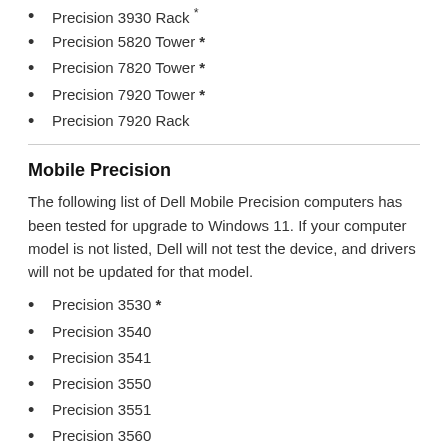Precision 3930 Rack *
Precision 5820 Tower *
Precision 7820 Tower *
Precision 7920 Tower *
Precision 7920 Rack
Mobile Precision
The following list of Dell Mobile Precision computers has been tested for upgrade to Windows 11. If your computer model is not listed, Dell will not test the device, and drivers will not be updated for that model.
Precision 3530 *
Precision 3540
Precision 3541
Precision 3550
Precision 3551
Precision 3560
Precision 3561